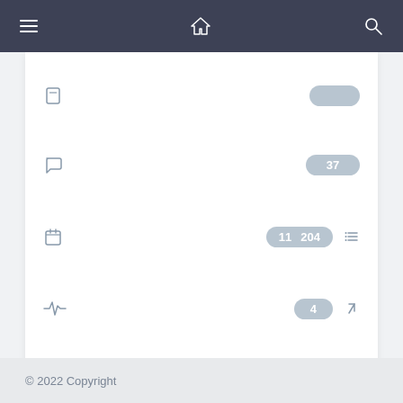[Figure (screenshot): Dark navigation bar with hamburger menu icon on left, home icon in center, search icon on right]
[Figure (screenshot): White card panel with four rows of icons and badge counts. Row 1: bookmark/user icon with a badge on right. Row 2: chat bubble icon with badge '37'. Row 3: calendar icon with double badge '11 204' and list icon. Row 4: activity/pulse icon with badge '4' and arrow icon.]
© 2022 Copyright